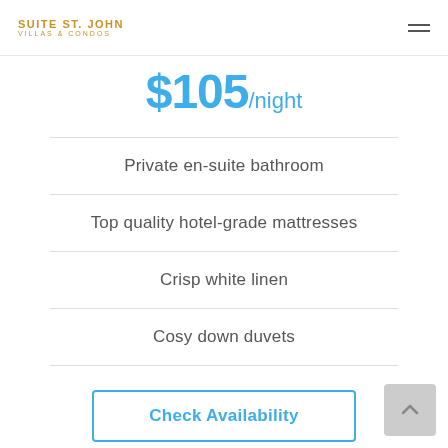SUITE ST. JOHN VILLAS & CONDOS
$105/night
Private en-suite bathroom
Top quality hotel-grade mattresses
Crisp white linen
Cosy down duvets
Check Availability